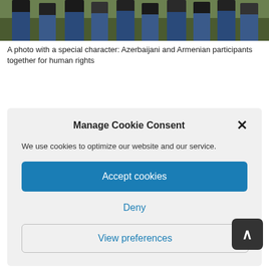[Figure (photo): Group photo showing people standing outdoors on grass, cropped at chest/waist level]
A photo with a special character: Azerbaijani and Armenian participants together for human rights
Manage Cookie Consent
We use cookies to optimize our website and our service.
Accept cookies
Deny
View preferences
The German Foreign Office, Tabea Rösner, Michael Brand and Tom Koenigs, the German State Secretary, Mark Weinmeister, Martina Feldmayer, MdL, Hessen; Regula Spalinger, G2W, Switzerland; Boris Glasunov, director of the Babij Jar memorial